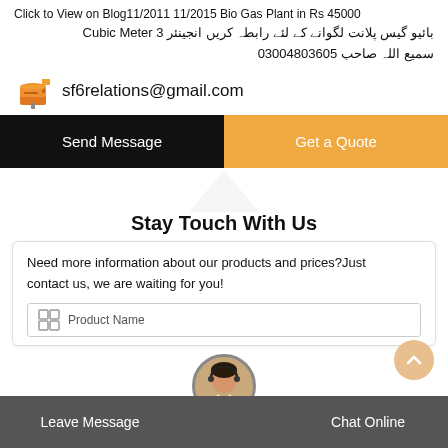Click to View on Blog11/2011 11/2015 Bio Gas Plant in Rs 45000 بائیو گیس پلانت لگوانے کے لئے رابطہ کریں انجینئر 3 Cubic Meter سمیع اللہ صاحب 03004803605
sf6relations@gmail.com
Send Message
Get a Quote
Stay Touch With Us
Need more information about our products and prices?Just contact us, we are waiting for you!
Product Name
Leave Message  Chat Online